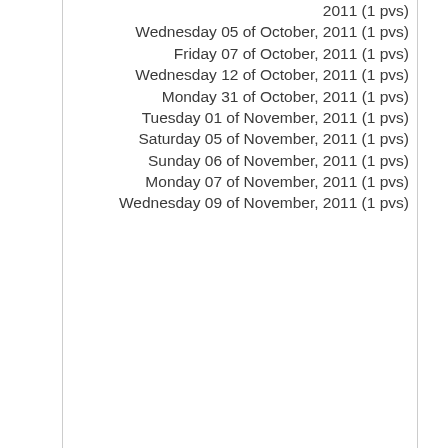2011 (1 pvs)
Wednesday 05 of October, 2011 (1 pvs)
Friday 07 of October, 2011 (1 pvs)
Wednesday 12 of October, 2011 (1 pvs)
Monday 31 of October, 2011 (1 pvs)
Tuesday 01 of November, 2011 (1 pvs)
Saturday 05 of November, 2011 (1 pvs)
Sunday 06 of November, 2011 (1 pvs)
Monday 07 of November, 2011 (1 pvs)
Wednesday 09 of November, 2011 (1 pvs)